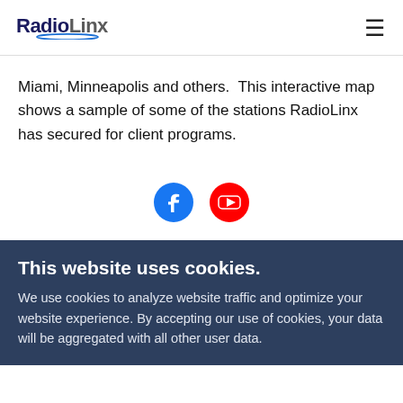RadioLinx
Miami, Minneapolis and others.  This interactive map shows a sample of some of the stations RadioLinx has secured for client programs.
[Figure (illustration): Facebook and YouTube social media icon circles — Facebook blue circle with white 'f' logo, YouTube red circle with white play button icon.]
This website uses cookies.
We use cookies to analyze website traffic and optimize your website experience. By accepting our use of cookies, your data will be aggregated with all other user data.